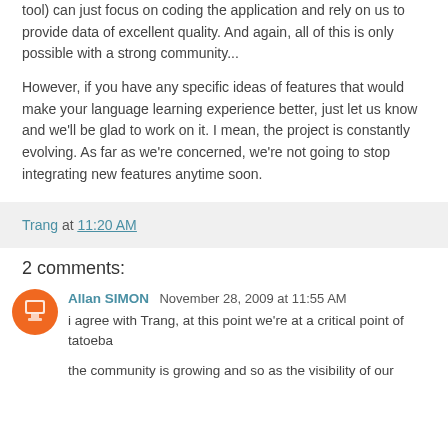tool) can just focus on coding the application and rely on us to provide data of excellent quality. And again, all of this is only possible with a strong community...
However, if you have any specific ideas of features that would make your language learning experience better, just let us know and we'll be glad to work on it. I mean, the project is constantly evolving. As far as we're concerned, we're not going to stop integrating new features anytime soon.
Trang at 11:20 AM
2 comments:
Allan SIMON November 28, 2009 at 11:55 AM
i agree with Trang, at this point we're at a critical point of tatoeba

the community is growing and so as the visibility of our